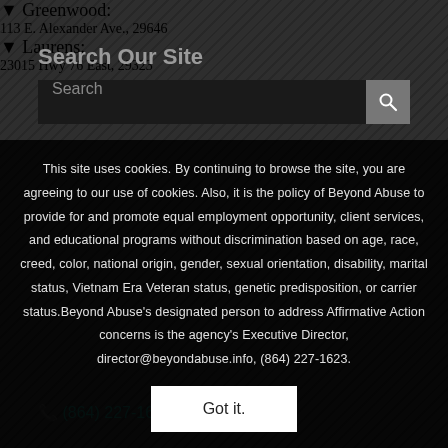Search Our Site
[Figure (screenshot): Search bar with text input field and search button icon]
This site uses cookies. By continuing to browse the site, you are agreeing to our use of cookies. Also, it is the policy of Beyond Abuse to provide for and promote equal employment opportunity, client services, and educational programs without discrimination based on age, race, creed, color, national origin, gender, sexual orientation, disability, marital status, Vietnam Era Veteran status, genetic predisposition, or carrier status.Beyond Abuse's designated person to address Affirmative Action concerns is the agency's Executive Director, director@beyondabuse.info, (864) 227-1623.
Got it.